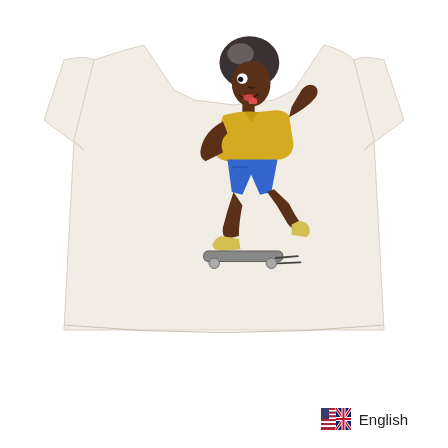[Figure (photo): A cream/off-white short-sleeve t-shirt laid flat, featuring a cartoon graphic of a character with dark afro hair, wearing a yellow top and blue shorts, riding a skateboard with motion lines. The character appears to be in dynamic skating motion.]
English